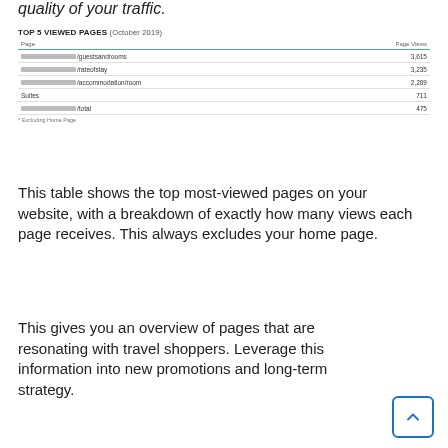quality of your traffic.
| Page | Page Views |
| --- | --- |
| /[redacted]/guestsandrooms | 3,615 |
| /[redacted]/rateofstay | 3,235 |
| /[redacted]/accommodation/room | 2,289 |
| Suites | 711 |
| /[redacted]/total | 475 |
* Excluding Home Page
This table shows the top most-viewed pages on your website, with a breakdown of exactly how many views each page receives. This always excludes your home page.
This gives you an overview of pages that are resonating with travel shoppers. Leverage this information into new promotions and long-term strategy.